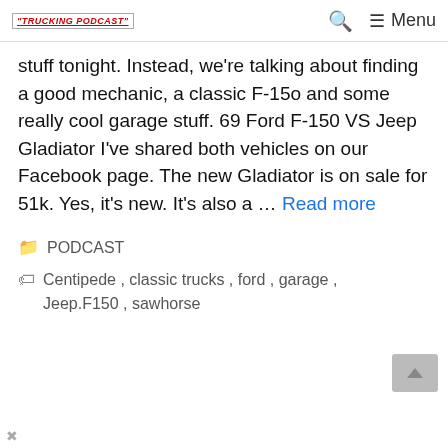TRUCKING PODCAST — Search — Menu
stuff tonight. Instead, we're talking about finding a good mechanic, a classic F-15o and some really cool garage stuff. 69 Ford F-150 VS Jeep Gladiator I've shared both vehicles on our Facebook page. The new Gladiator is on sale for 51k. Yes, it's new. It's also a … Read more
PODCAST
Centipede, classic trucks, ford, garage, Jeep.F150, sawhorse